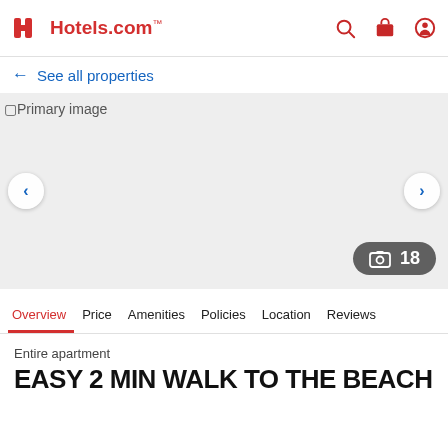Hotels.com™
← See all properties
[Figure (photo): Primary image placeholder for hotel property photo gallery]
Overview  Price  Amenities  Policies  Location  Reviews
Entire apartment
EASY 2 MIN WALK TO THE BEACH